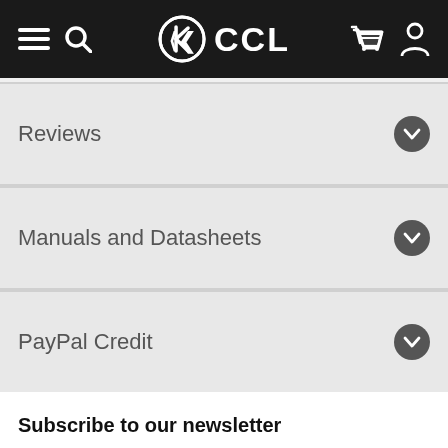CCL
Reviews
Manuals and Datasheets
PayPal Credit
Subscribe to our newsletter
Email Address | Sign Up
Track Your Order
Order Number | Delivery Postcode | Track Order